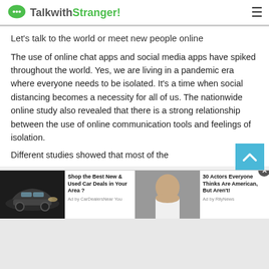TalkwithStranger!
Let's talk to the world or meet new people online
The use of online chat apps and social media apps have spiked throughout the world. Yes, we are living in a pandemic era where everyone needs to be isolated. It's a time when social distancing becomes a necessity for all of us. The nationwide online study also revealed that there is a strong relationship between the use of online communication tools and feelings of isolation.
Different studies showed that most of the
[Figure (other): Advertisement: Shop the Best New & Used Car Deals in Your Area? Ad by CarDealersNear You]
[Figure (other): Advertisement: 30 Actors Everyone Thinks Are American, But Aren't! Ad by RilyNews]